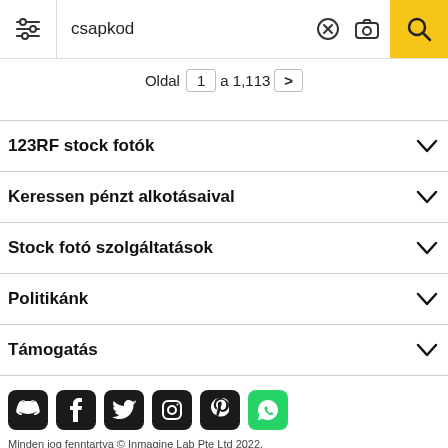csapkod
Oldal 1 a 1,113 >
123RF stock fotók
Keressen pénzt alkotásaival
Stock fotó szolgáltatások
Politikánk
Támogatás
[Figure (other): Social media icons: Discord, Facebook, Twitter, Instagram, Pinterest, WhatsApp]
Minden jog fenntartva © Inmagine Lab Pte Ltd 2022.